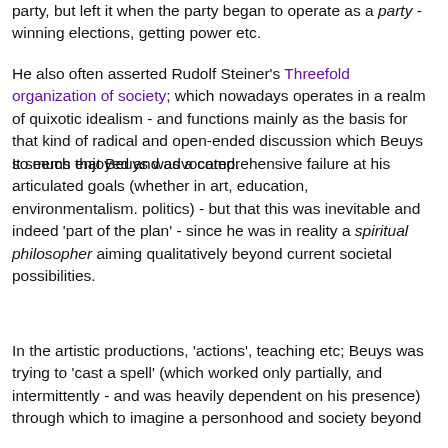party, but left it when the party began to operate as a party - winning elections, getting power etc.
He also often asserted Rudolf Steiner's Threefold organization of society; which nowadays operates in a realm of quixotic idealism - and functions mainly as the basis for that kind of radical and open-ended discussion which Beuys so much enjoyed and advocated.
It seems that Beuys was a comprehensive failure at his articulated goals (whether in art, education, environmentalism. politics) - but that this was inevitable and indeed 'part of the plan' - since he was in reality a spiritual philosopher aiming qualitatively beyond current societal possibilities.
In the artistic productions, 'actions', teaching etc; Beuys was trying to 'cast a spell' (which worked only partially, and intermittently - and was heavily dependent on his presence) through which to imagine a personhood and society beyond...